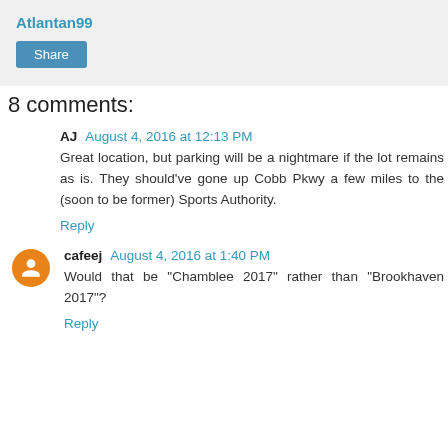Atlantan99
Share
8 comments:
AJ  August 4, 2016 at 12:13 PM
Great location, but parking will be a nightmare if the lot remains as is. They should've gone up Cobb Pkwy a few miles to the (soon to be former) Sports Authority.
Reply
cafeej  August 4, 2016 at 1:40 PM
Would that be "Chamblee 2017" rather than "Brookhaven 2017"?
Reply